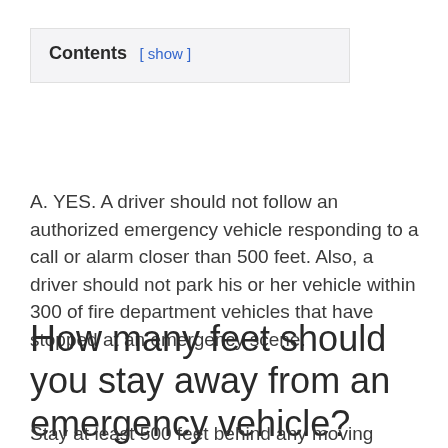| Contents [ show ] |
| --- |
A. YES. A driver should not follow an authorized emergency vehicle responding to a call or alarm closer than 500 feet. Also, a driver should not park his or her vehicle within 300 of fire department vehicles that have stopped at an emergency scene.
How many feet should you stay away from an emergency vehicle?
Stay at least 500 feet behind any moving emergency vehicle (fire truck, ambulance, etc.).